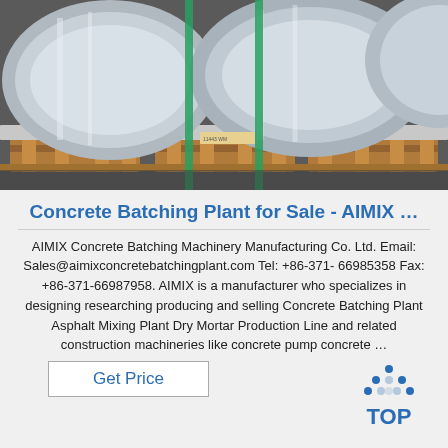[Figure (photo): Large silver metal cylinders/rolls bundled with green straps, resting on wooden pallets on a concrete floor. Industrial warehouse setting.]
Concrete Batching Plant for Sale - AIMIX …
AIMIX Concrete Batching Machinery Manufacturing Co. Ltd. Email: Sales@aimixconcretebatchingplant.com Tel: +86-371-66985358 Fax: +86-371-66987958. AIMIX is a manufacturer who specializes in designing researching producing and selling Concrete Batching Plant Asphalt Mixing Plant Dry Mortar Production Line and related construction machineries like concrete pump concrete …
[Figure (logo): TOP badge logo — blue dots arranged above the letters TOP in blue]
Get Price